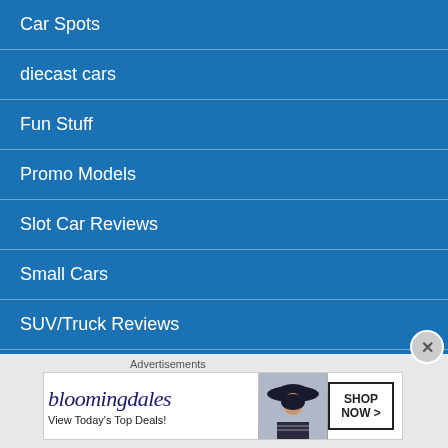Car Spots
diecast cars
Fun Stuff
Promo Models
Slot Car Reviews
Small Cars
SUV/Truck Reviews
Uncategorized
When they were new
Advertisements
[Figure (other): Bloomingdales advertisement banner: 'bloomingdales View Today’s Top Deals!' with a woman wearing a hat and a 'SHOP NOW >' button]